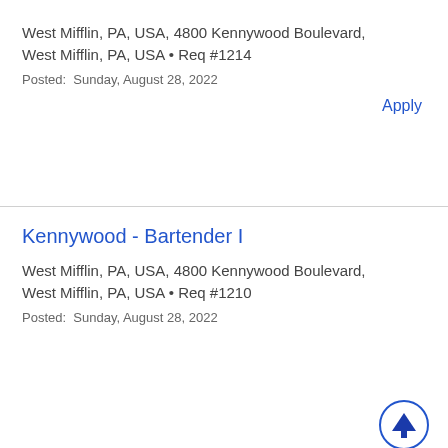West Mifflin, PA, USA, 4800 Kennywood Boulevard, West Mifflin, PA, USA • Req #1214
Posted: Sunday, August 28, 2022
Apply
Kennywood - Bartender I
West Mifflin, PA, USA, 4800 Kennywood Boulevard, West Mifflin, PA, USA • Req #1210
Posted: Sunday, August 28, 2022
Kennywood - Retail I - 940
West Mifflin, PA, USA, 4800 Kennywood Boulevard, West Mifflin, PA, USA • Req #1210